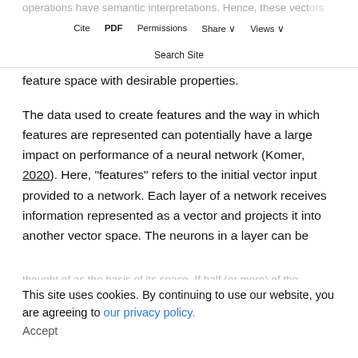operations have semantic interpretations. Hence, these vectors and operations can be used to craft complex cognitive models. Beyond this, SSPs are a useful tool in deep learning as a method for embedding data in a feature space with desirable properties.
Cite  PDF  Permissions  Share  Views  Search Site
The data used to create features and the way in which features are represented can potentially have a large impact on performance of a neural network (Komer, 2020). Here, "features" refers to the initial vector input provided to a network. Each layer of a network receives information represented as a vector and projects it into another vector space. The neurons in a layer can be
thought of as the basis of its space. If half (or more) of the neurons are active, that means 50% of the dimensions of the vector space are needed to represent the information. Such a layer would contain a
This site uses cookies. By continuing to use our website, you are agreeing to our privacy policy.
Accept